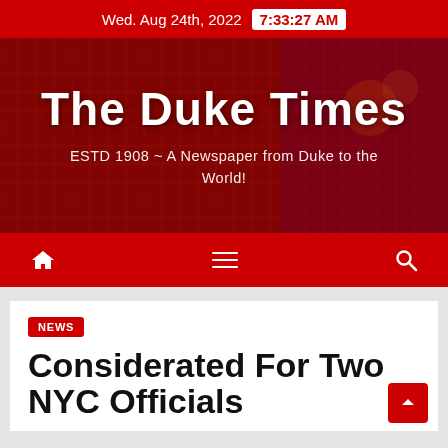Wed. Aug 24th, 2022  7:33:27 AM
The Duke Times
ESTD 1908 ~ A Newspaper from Duke to the World!
[Figure (screenshot): Navigation bar with home icon, hamburger menu, and search icon on red background]
NEWS
Considerated For Two NYC Officials